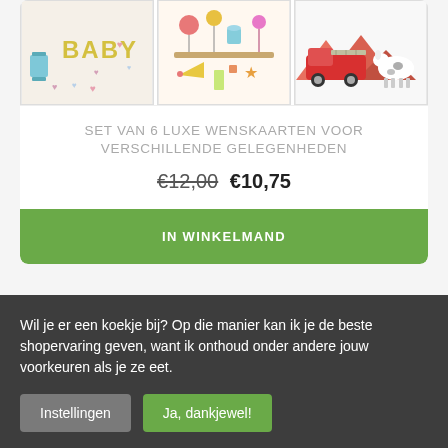[Figure (photo): Three greeting cards shown side by side: a baby card with 'BABY' text, a colorful party/celebration card, and a vehicle/animals themed card.]
SET VAN 6 LUXE WENSKAARTEN VOOR VERSCHILLENDE GELEGENHEDEN
€12,00 €10,75
IN WINKELMAND
Wil je er een koekje bij? Op die manier kan ik je de beste shopervaring geven, want ik onthoud onder andere jouw voorkeuren als je ze eet.
Instellingen
Ja, dankjewel!